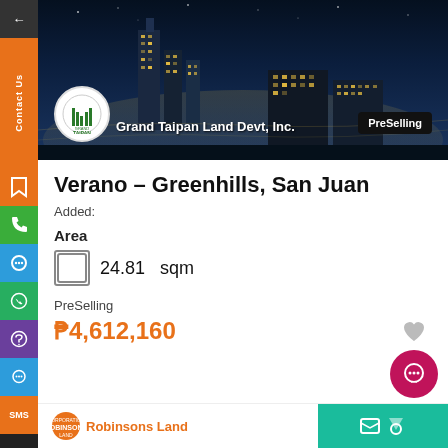[Figure (photo): Aerial night city skyline photo with tall buildings and city lights, hero banner for real estate listing]
Grand Taipan Land Devt, Inc.
PreSelling
Verano – Greenhills, San Juan
Added:
Area
24.81  sqm
PreSelling
₱4,612,160
Robinsons Land